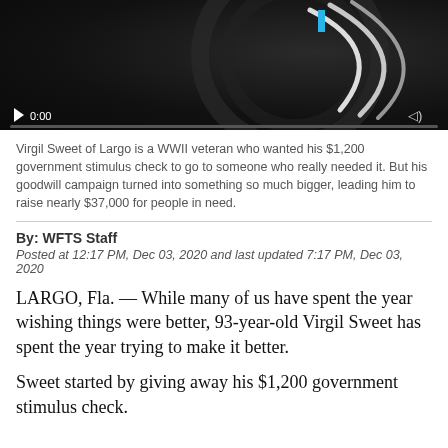[Figure (screenshot): Video player thumbnail showing a dark background with swirling white lines graphic, timecode 0:00, play button, progress bar, and a blue accent bar at top right.]
Virgil Sweet of Largo is a WWII veteran who wanted his $1,200 government stimulus check to go to someone who really needed it. But his goodwill campaign turned into something so much bigger, leading him to raise nearly $37,000 for people in need.
By: WFTS Staff
Posted at 12:17 PM, Dec 03, 2020 and last updated 7:17 PM, Dec 03, 2020
LARGO, Fla. — While many of us have spent the year wishing things were better, 93-year-old Virgil Sweet has spent the year trying to make it better.
Sweet started by giving away his $1,200 government stimulus check.